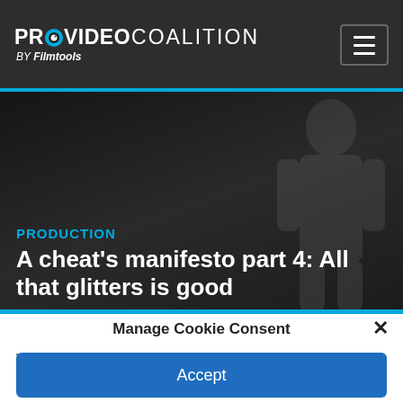PROVIDEO COALITION BY Filmtools
[Figure (screenshot): Dark hero banner with silhouette figure in background]
PRODUCTION
A cheat's manifesto part 4: All that glitters is good
Manage Cookie Consent
We use cookies to optimize our website and our service.
Accept